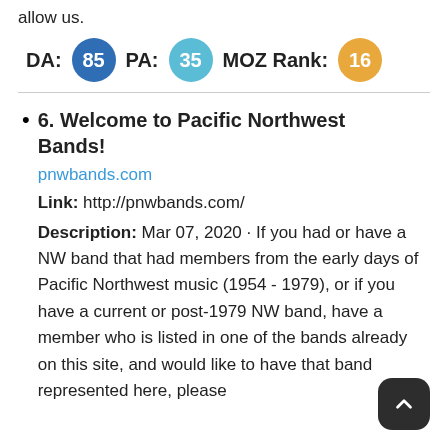allow us.
DA: 85  PA: 35  MOZ Rank: 16
6. Welcome to Pacific Northwest Bands!
pnwbands.com
Link: http://pnwbands.com/
Description: Mar 07, 2020 · If you had or have a NW band that had members from the early days of Pacific Northwest music (1954 - 1979), or if you have a current or post-1979 NW band, have a member who is listed in one of the bands already on this site, and would like to have that band represented here, please